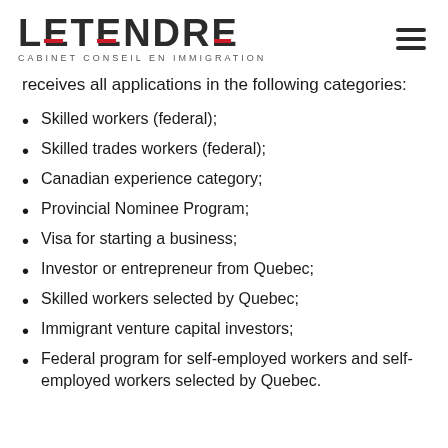LETENDRE — CABINET CONSEIL EN IMMIGRATION
receives all applications in the following categories:
Skilled workers (federal);
Skilled trades workers (federal);
Canadian experience category;
Provincial Nominee Program;
Visa for starting a business;
Investor or entrepreneur from Quebec;
Skilled workers selected by Quebec;
Immigrant venture capital investors;
Federal program for self-employed workers and self-employed workers selected by Quebec.